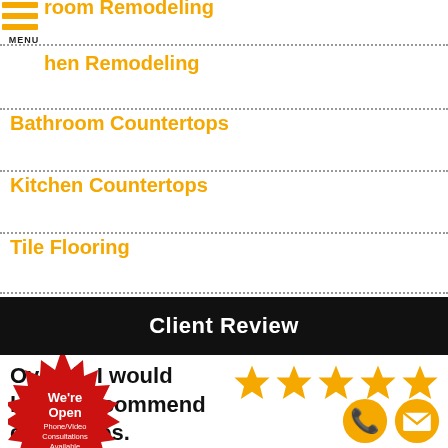room Remodeling
hen Remodeling
Bathroom Countertops
Kitchen Countertops
Tile Flooring
Client Review
Overall, I would highly recommend colleagues.
[Figure (infographic): Five orange star rating icons]
[Figure (infographic): Red starburst badge reading We're Open Phone/Video Consultations Available]
[Figure (infographic): Orange phone icon and orange email/envelope icon]